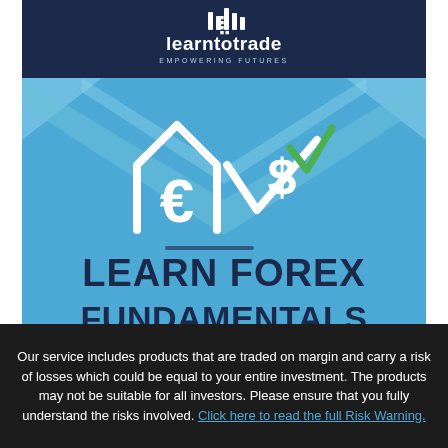[Figure (illustration): Learn to Trade brand cover image with logo at top on dark navy background, chevron design, currency symbols (euro and dollar) in center on blue background, and bold title text 'LEARN FOREX FUNDAMENTALS']
Our service includes products that are traded on margin and carry a risk of losses which could be equal to your entire investment. The products may not be suitable for all investors. Please ensure that you fully understand the risks involved. Click here to read the full Risk Warning.